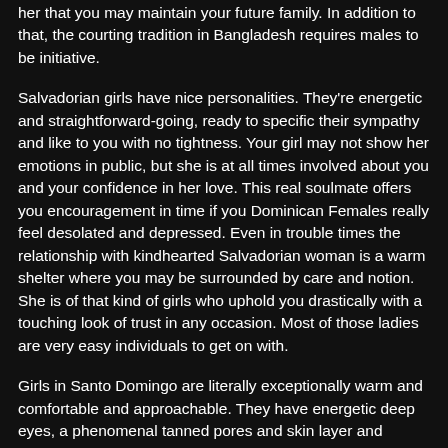her that you may maintain your future family. In addition to that, the courting tradition in Bangladesh requires males to be initiative.
Salvadorian girls have nice personalities. They're energetic and straightforward-going, ready to specific their sympathy and like to you with no tightness. Your girl may not show her emotions in public, but she is at all times involved about you and your confidence in her love. This real soulmate offers you encouragement in time if you Dominican Females really feel desolated and depressed. Even in trouble times the relationship with kindhearted Salvadorian woman is a warm shelter where you may be surrounded by care and notion. She is of that kind of girls who uphold you drastically with a touching look of trust in any occasion. Most of those ladies are very easy individuals to get on with.
Girls in Santo Domingo are literally exceptionally warm and comfortable and approachable. They have energetic deep eyes, a phenomenal tanned pores and skin layer and